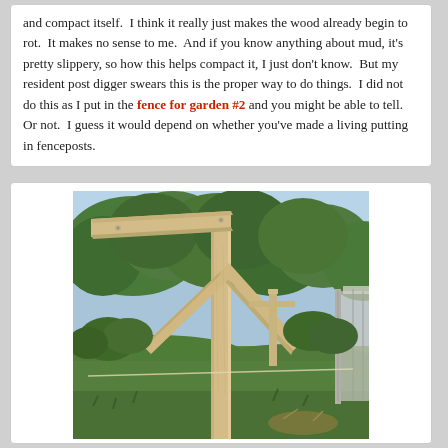and compact itself.  I think it really just makes the wood already begin to rot.  It makes no sense to me.  And if you know anything about mud, it's pretty slippery, so how this helps compact it, I just don't know.  But my resident post digger swears this is the proper way to do things.  I did not do this as I put in the fence for garden #2 and you might be able to tell.  Or not.  I guess it would depend on whether you've made a living putting in fenceposts.
[Figure (photo): Outdoor photograph showing wooden fence posts in a garden. A large foreground post with diagonal bracing forms a Y-shape, with a horizontal top beam extending left. A second smaller T-shaped post structure is visible in the midground. Green trees and bushes fill the background. A greenhouse or hoop structure is partially visible on the right. Green grass covers the ground.]